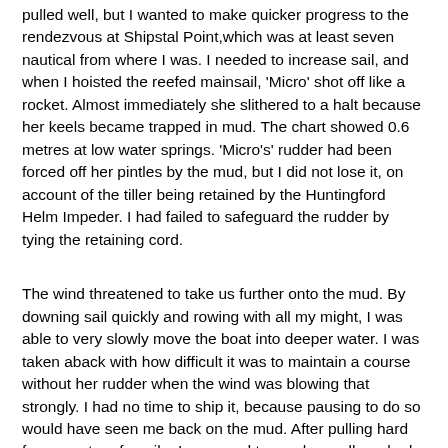pulled well, but I wanted to make quicker progress to the rendezvous at Shipstal Point,which was at least seven nautical from where I was. I needed to increase sail, and when I hoisted the reefed mainsail, 'Micro' shot off like a rocket. Almost immediately she slithered to a halt because her keels became trapped in mud. The chart showed 0.6 metres at low water springs. 'Micro's' rudder had been forced off her pintles by the mud, but I did not lose it, on account of the tiller being retained by the Huntingford Helm Impeder. I had failed to safeguard the rudder by tying the retaining cord.
The wind threatened to take us further onto the mud. By downing sail quickly and rowing with all my might, I was able to very slowly move the boat into deeper water. I was taken aback with how difficult it was to maintain a course without her rudder when the wind was blowing that strongly. I had no time to ship it, because pausing to do so would have seen me back on the mud. After pulling hard for a quarter of a mile, I managed to reach a well-marked, but very narrow channel. I grabbed a starboard-hand beacon and tied a painter to it. That gave me respite and a chance to regain my